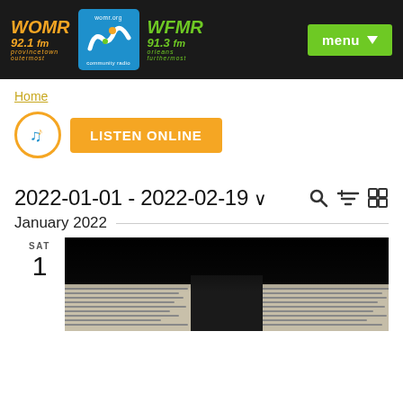WOMR 92.1 fm provincetown outermost | WFMR 91.3 fm orleans furthermost | community radio | womr.org | menu
Home
LISTEN ONLINE
2022-01-01 - 2022-02-19
January 2022
SAT 1
[Figure (photo): Dark image showing sheet music or paper documents on a surface, partially lit, with a dark background above.]